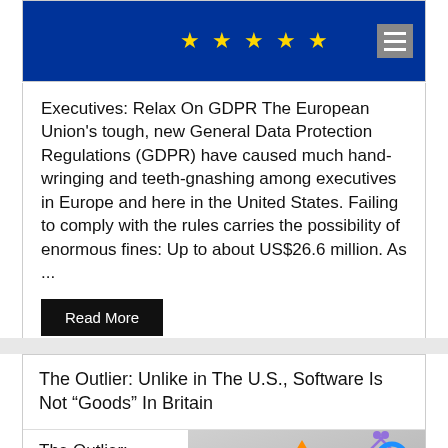[Figure (photo): EU flag banner showing gold stars on blue background with hamburger menu icon]
Executives: Relax On GDPR The European Union's tough, new General Data Protection Regulations (GDPR) have caused much hand-wringing and teeth-gnashing among executives in Europe and here in the United States. Failing to comply with the rules carries the possibility of enormous fines: Up to about US$26.6 million. As ...
Read More
The Outlier: Unlike in The U.S., Software Is Not “Goods” In Britain
The Outlier: Unlike in The U.S., Software
[Figure (illustration): Colorful illustration of software/technology icons including gears, code brackets, science flask, and mobile devices on grey gradient background]